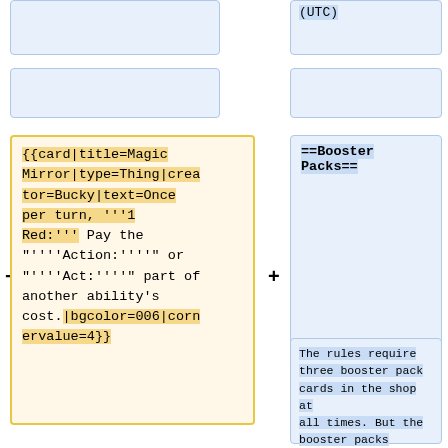(UTC)
{{card|title=Magic Mirror|type=Thing|creator=Bucky|text=Once per turn, '''1 Red:''' Pay the "''''Action:''''" or "''''Act:''''" part of another ability's cost.|bgcolor=006|cornervalue=4}}
==Booster Packs==
The rules require three booster pack cards in the shop at all times. But the booster packs themselves are small, 15 cards or less, and